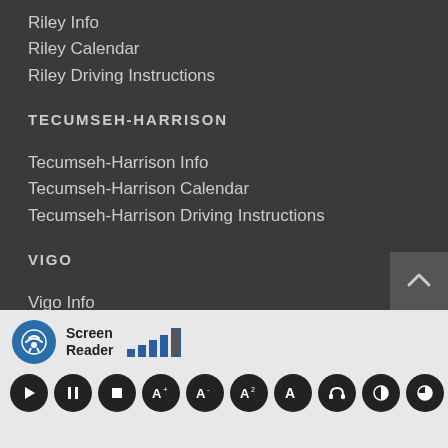Riley Info
Riley Calendar
Riley Driving Instructions
TECUMSEH-HARRISON
Tecumseh-Harrison Info
Tecumseh-Harrison Calendar
Tecumseh-Harrison Driving Instructions
VIGO
Vigo Info
Vigo Calendar
Vigo Driving Instructions
PARENTS/STUDENTS
[Figure (screenshot): Screen Reader accessibility toolbar at the bottom of the page with play, pause, stop and other controls]